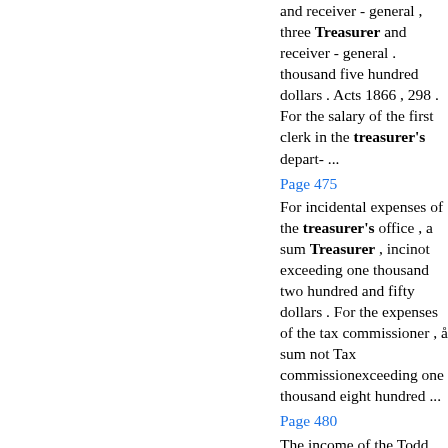and receiver - general , three Treasurer and receiver - general . thousand five hundred dollars . Acts 1866 , 298 . For the salary of the first clerk in the treasurer's depart- ...
Page 475
For incidental expenses of the treasurer's office , a sum Treasurer , incinot exceeding one thousand two hundred and fifty dollars . For the expenses of the tax commissioner , å sum not Tax commissionexceeding one thousand eight hundred ...
Page 480
The income of the Todd normal school fund shall